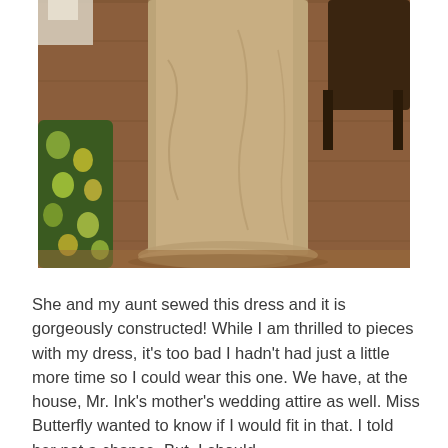[Figure (photo): A photo of the lower half of a long golden/champagne satin dress hanging down to a hardwood floor. To the left is a floral-patterned chair or garment. The background shows a wooden floor and dark furniture.]
She and my aunt sewed this dress and it is gorgeously constructed! While I am thrilled to pieces with my dress, it's too bad I hadn't had just a little more time so I could wear this one. We have, at the house, Mr. Ink's mother's wedding attire as well. Miss Butterfly wanted to know if I would fit in that. I told her not a chance. But, I should